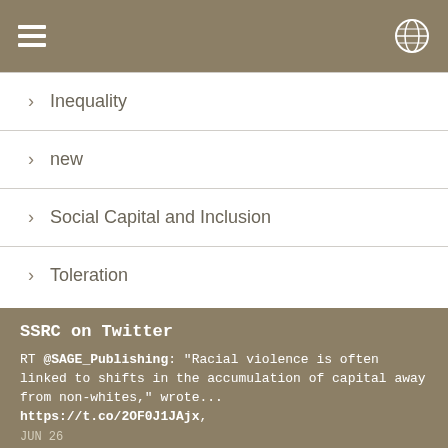Inequality
new
Social Capital and Inclusion
Toleration
SSRC on Twitter
RT @SAGE_Publishing: "Racial violence is often linked to shifts in the accumulation of capital away from non-whites," wrote... https://t.co/2OF0J1JAjx,
JUN 26